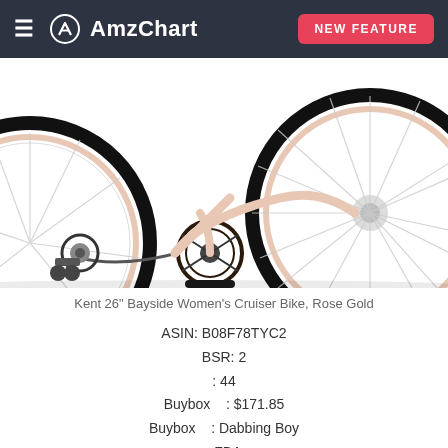AmzChart — NEW FEATURE
[Figure (photo): Photo of Kent 26 inch Bayside Women's Cruiser Bike in Rose Gold, showing rear wheel, pedals, and chain area cropped view]
Kent 26" Bayside Women's Cruiser Bike, Rose Gold
ASIN: B08F78TYC2
BSR: 2
: 44
Buybox    : $171.85
Buybox    : Dabbing Boy
: FBA
: 2020-08-04
: Sports & Outdoors->Outdoor Recreation->Cycling->Bikes->Comfort Bikes: